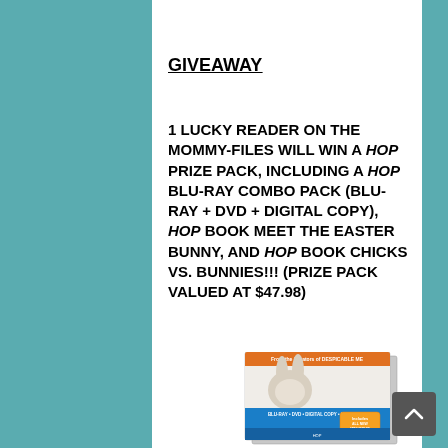GIVEAWAY
1 LUCKY READER ON THE MOMMY-FILES WILL WIN A HOP PRIZE PACK, INCLUDING A HOP BLU-RAY COMBO PACK (BLU-RAY + DVD + DIGITAL COPY), HOP BOOK MEET THE EASTER BUNNY, AND HOP BOOK CHICKS VS. BUNNIES!!! (PRIZE PACK VALUED AT $47.98)
[Figure (photo): HOP Blu-ray combo pack product box showing bunny character, with orange top stripe and blue band reading BLU-RAY + DVD + DIGITAL COPY + MINI MOVIE]